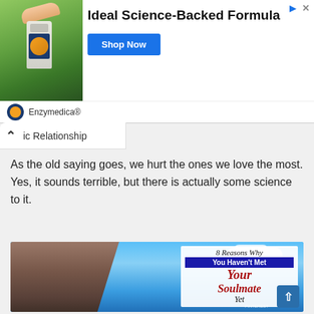[Figure (infographic): Advertisement banner for Enzymedica supplement product showing a bottle held by a hand against a green background, with text 'Ideal Science-Backed Formula' and a 'Shop Now' button]
ic Relationship
As the old saying goes, we hurt the ones we love the most. Yes, it sounds terrible, but there is actually some science to it.
[Figure (infographic): Article image with vintage woman hugging a man against a blue sky background with clouds, overlaid text reading '8 Reasons Why You Haven't Met Your Soulmate Yet']